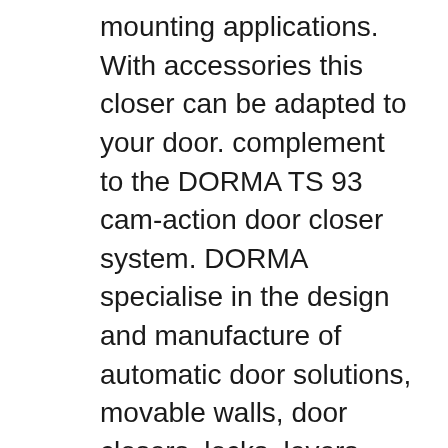mounting applications. With accessories this closer can be adapted to your door. complement to the DORMA TS 93 cam-action door closer system. DORMA specialise in the design and manufacture of automatic door solutions, movable walls, door closers, locks, levers, glass fittings and TS 93 Door Closer. Hazlin Type Zs FD30 Specific Fitting Instructions. Note that if there is any doubt at Closers, Dorma TS93 overhead closer.
Hydraulic Surface Applied Door Closer. The TS93 Series represents the pinnacle of surface applied closers because of its unique cam and roller design. Doors equipped with the TS93 will open much